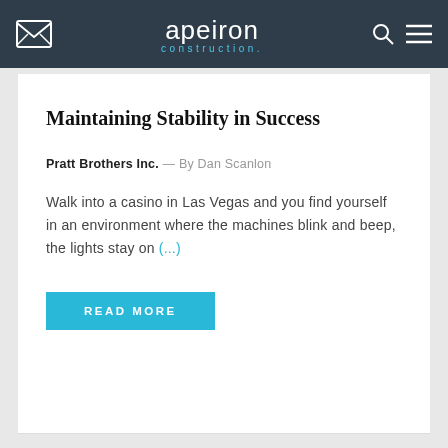apeiron construction.
Maintaining Stability in Success
Pratt Brothers Inc. — By Dan Scanlon
Walk into a casino in Las Vegas and you find yourself in an environment where the machines blink and beep, the lights stay on (...)
READ MORE